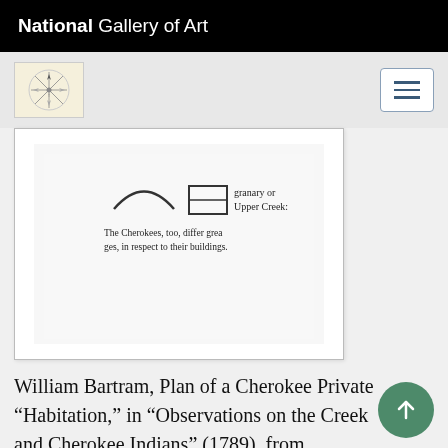National Gallery of Art
[Figure (logo): NGA compass rose icon in beige box]
[Figure (screenshot): Cropped image of a historical document page showing a granary or Upper Creek building diagram with text: 'granary or Upper Creek:' and 'The Cherokees, too, differ grea ges, in respect to their buildings.']
William Bartram, Plan of a Cherokee Private “Habitation,” in “Observations on the Creek and Cherokee Indians” (1789), from Transactions of the American Ethnological Society 3, part